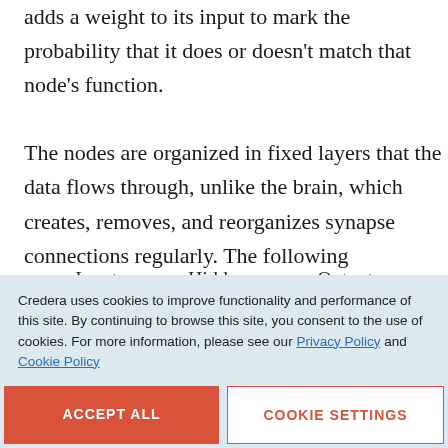adds a weight to its input to mark the probability that it does or doesn't match that node's function. The nodes are organized in fixed layers that the data flows through, unlike the brain, which creates, removes, and reorganizes synapse connections regularly. The following exemplifies how a ML neural network is organized:
[Figure (network-graph): Neural network diagram showing Input, Hidden, and Output layers]
Credera uses cookies to improve functionality and performance of this site. By continuing to browse this site, you consent to the use of cookies. For more information, please see our Privacy Policy and Cookie Policy